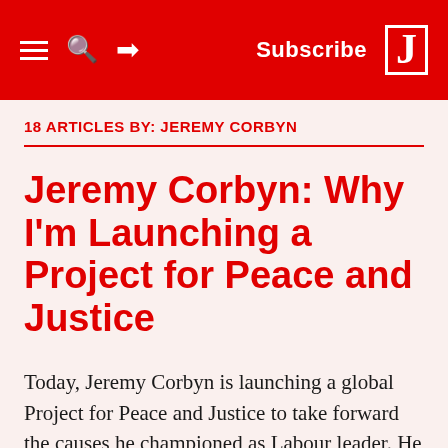Subscribe
18 ARTICLES BY: JEREMY CORBYN
Jeremy Corbyn: Why I'm Launching a Project for Peace and Justice
Today, Jeremy Corbyn is launching a global Project for Peace and Justice to take forward the causes he championed as Labour leader. He told Jacobin about his hopes for the initiative — and why he